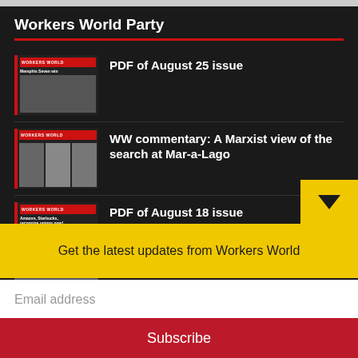Workers World Party
PDF of August 25 issue
WW commentary: A Marxist view of the search at Mar-a-Lago
PDF of August 18 issue
'Operation Lone Star' – a white-supremacist ploy
PDF of August 11 issue
Get the latest updates from Workers World
Email address
Subscribe